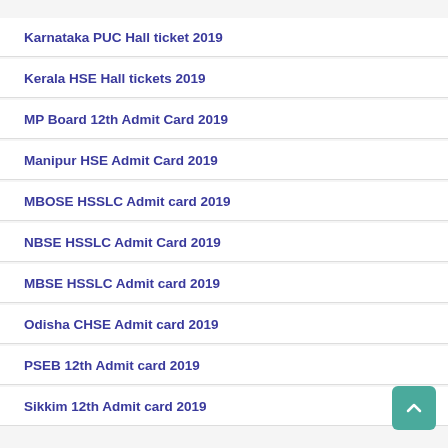Karnataka PUC Hall ticket 2019
Kerala HSE Hall tickets 2019
MP Board 12th Admit Card 2019
Manipur HSE Admit Card 2019
MBOSE HSSLC Admit card 2019
NBSE HSSLC Admit Card 2019
MBSE HSSLC Admit card 2019
Odisha CHSE Admit card 2019
PSEB 12th Admit card 2019
Sikkim 12th Admit card 2019